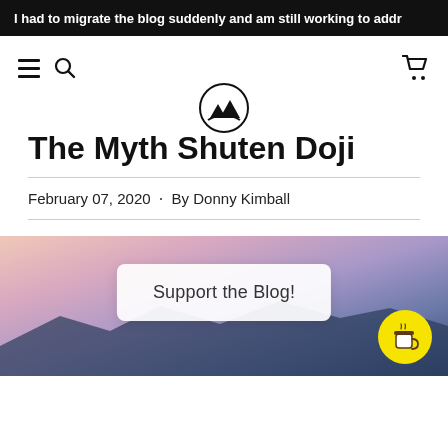I had to migrate the blog suddenly and am still working to addr
[Figure (screenshot): Website navigation bar with hamburger menu, search icon, circular mountain/landscape logo, and shopping cart icon]
The Myth Shuten Doji
February 07, 2020 · By Donny Kimball
[Figure (photo): Mountain landscape at sunset/dusk with purple and orange sky, with a 'Support the Blog!' overlay card and a yellow coffee cup button]
Support the Blog!